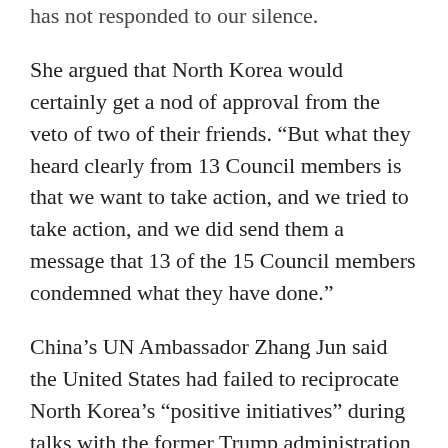has not responded to our silence.
She argued that North Korea would certainly get a nod of approval from the veto of two of their friends. “But what they heard clearly from 13 Council members is that we want to take action, and we tried to take action, and we did send them a message that 13 of the 15 Council members condemned what they have done.”
China’s UN Ambassador Zhang Jun said the United States had failed to reciprocate North Korea’s “positive initiatives” during talks with the former Trump administration in 2018 and 2019.
The situation has developed to what it is today thanks primarily to the flip-flop of US policies and failure to uphold the results of previous dialogues, he said.